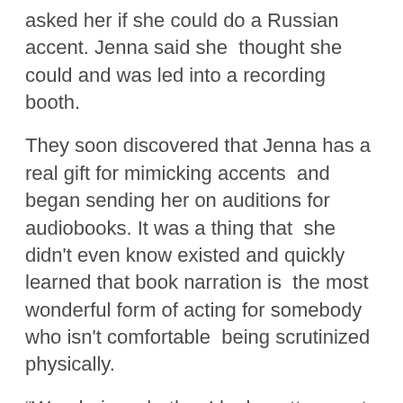asked her if she could do a Russian accent. Jenna said she thought she could and was led into a recording booth.
They soon discovered that Jenna has a real gift for mimicking accents and began sending her on auditions for audiobooks. It was a thing that she didn't even know existed and quickly learned that book narration is the most wonderful form of acting for somebody who isn't comfortable being scrutinized physically.
“Wondering whether I look pretty or not ruins losing myself in the character, you know? I guess I’m a little shy. I didn’t get into acting because I thought I was the